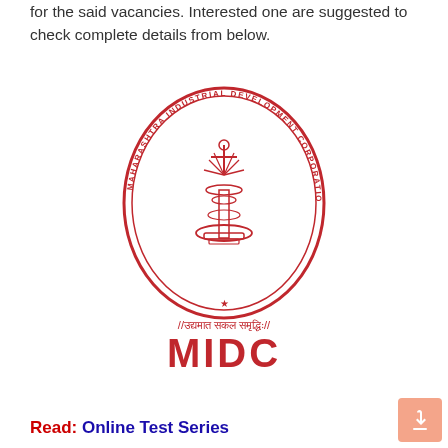for the said vacancies. Interested one are suggested to check complete details from below.
[Figure (logo): MIDC (Maharashtra Industrial Development Corporation) official logo — red circular seal with ornate fountain/trident emblem in the center, text 'MAHARASHTRA INDUSTRIAL DEVELOPMENT CORPORATION' around the circle, Devanagari script tagline '//उद्यमात सकल समृद्धिः//' below the seal, and bold red 'MIDC' lettering at the bottom.]
Read: Online Test Series